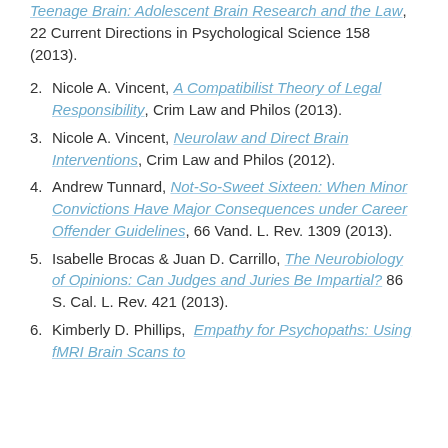(continuation) Teenage Brain: Adolescent Brain Research and the Law, 22 Current Directions in Psychological Science 158 (2013).
2. Nicole A. Vincent, A Compatibilist Theory of Legal Responsibility, Crim Law and Philos (2013).
3. Nicole A. Vincent, Neurolaw and Direct Brain Interventions, Crim Law and Philos (2012).
4. Andrew Tunnard, Not-So-Sweet Sixteen: When Minor Convictions Have Major Consequences under Career Offender Guidelines, 66 Vand. L. Rev. 1309 (2013).
5. Isabelle Brocas & Juan D. Carrillo, The Neurobiology of Opinions: Can Judges and Juries Be Impartial? 86 S. Cal. L. Rev. 421 (2013).
6. Kimberly D. Phillips, Empathy for Psychopaths: Using fMRI Brain Scans to